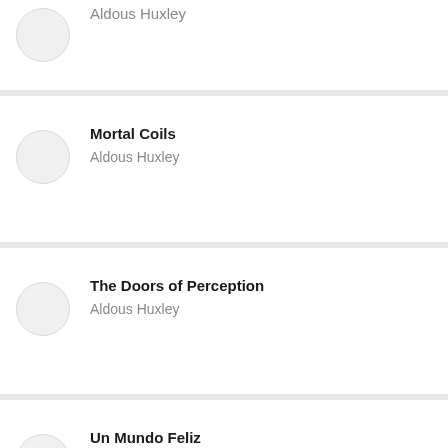Aldous Huxley
Mortal Coils — Aldous Huxley
The Doors of Perception — Aldous Huxley
Un Mundo Feliz — Aldous Huxley
30 Humorous Masterpieces you have to — Sinclair Lewis, P. G. Wodehouse, Oscar